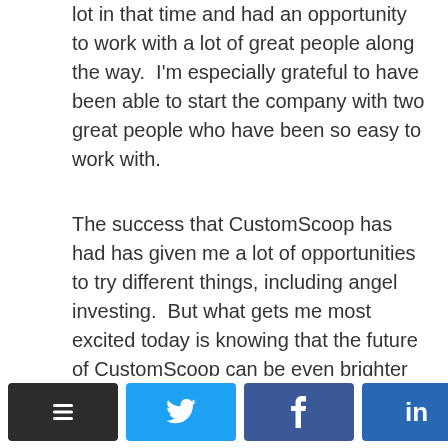lot in that time and had an opportunity to work with a lot of great people along the way.  I'm especially grateful to have been able to start the company with two great people who have been so easy to work with.
The success that CustomScoop has had has given me a lot of opportunities to try different things, including angel investing.  But what gets me most excited today is knowing that the future of CustomScoop can be even brighter than its past.  We have a great team in place working every day to innovate and expose new people to our solutions.  It should continue to be a great ride.